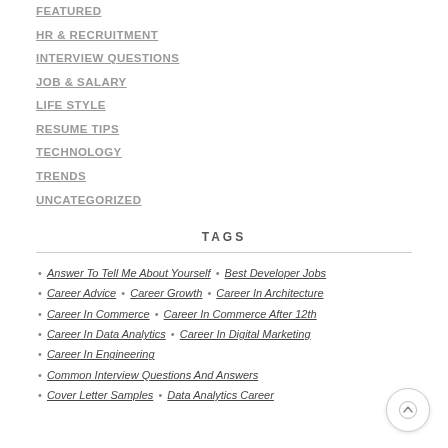FEATURED
HR & RECRUITMENT
INTERVIEW QUESTIONS
JOB & SALARY
LIFE STYLE
RESUME TIPS
TECHNOLOGY
TRENDS
UNCATEGORIZED
TAGS
• Answer To Tell Me About Yourself  •  Best Developer Jobs  •  Career Advice  •  Career Growth  •  Career In Architecture  •  Career In Commerce  •  Career In Commerce After 12th  •  Career In Data Analytics  •  Career In Digital Marketing  •  Career In Engineering  •  Common Interview Questions And Answers  •  Cover Letter Samples  •  Data Analytics Career